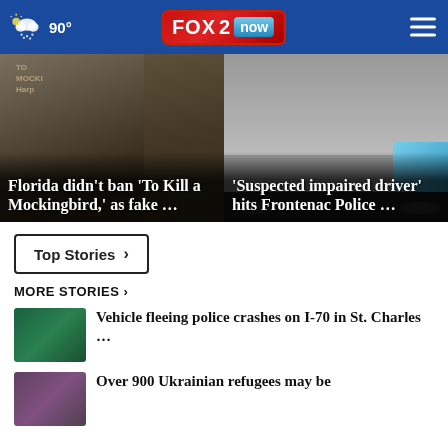FOX 2 now — 90°
[Figure (photo): Book cover partially visible — To Kill a Mockingbird, with overlaid headline: Florida didn't ban 'To Kill a Mockingbird,' as fake ...]
[Figure (photo): Police car damaged — with overlaid headline: 'Suspected impaired driver' hits Frontenac Police ...]
Top Stories ›
MORE STORIES ›
Vehicle fleeing police crashes on I-70 in St. Charles …
Over 900 Ukrainian refugees may be